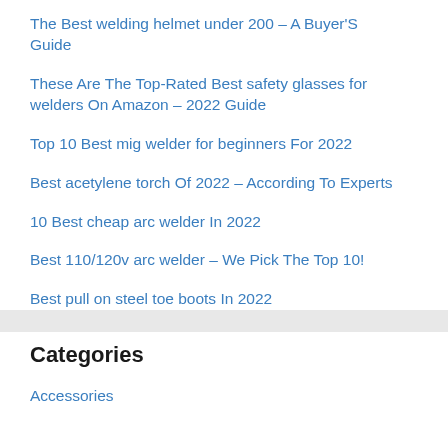The Best welding helmet under 200 – A Buyer'S Guide
These Are The Top-Rated Best safety glasses for welders On Amazon – 2022 Guide
Top 10 Best mig welder for beginners For 2022
Best acetylene torch Of 2022 – According To Experts
10 Best cheap arc welder In 2022
Best 110/120v arc welder – We Pick The Top 10!
Best pull on steel toe boots In 2022
Categories
Accessories